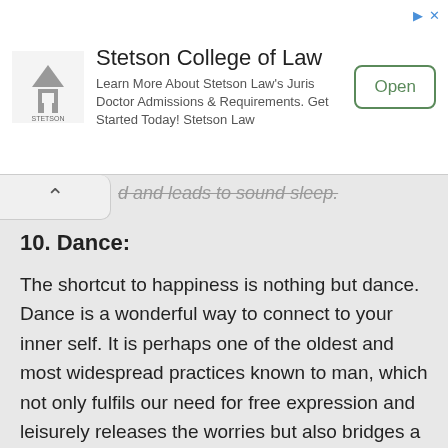[Figure (screenshot): Stetson College of Law advertisement banner with logo, tagline, and Open button]
d and leads to sound sleep.
10. Dance:
The shortcut to happiness is nothing but dance. Dance is a wonderful way to connect to your inner self. It is perhaps one of the oldest and most widespread practices known to man, which not only fulfils our need for free expression and leisurely releases the worries but also bridges a gap between the finite and infinite.
Dance is the easiest way to connect with the Almighty. Play a song and start dancing, feel like no one is watching you and your blood circulation will